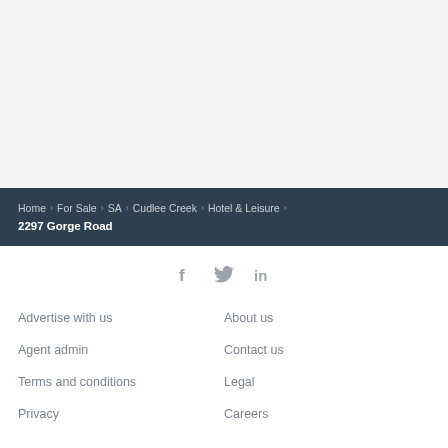Home › For Sale › SA › Cudlee Creek › Hotel & Leisure ›
2297 Gorge Road
[Figure (other): Social media icons: Facebook (f), Twitter (bird), LinkedIn (in)]
Advertise with us
About us
Agent admin
Contact us
Terms and conditions
Legal
Privacy
Careers